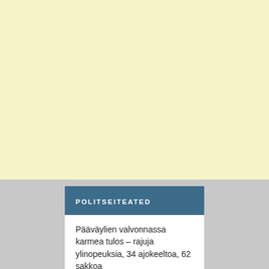[Figure (other): Large yellow/cream colored advertisement block occupying the top portion of the page]
POLITSEITEATED
Pääväylien valvonnassa karmea tulos – rajuja ylinopeuksia, 34 ajokeeltoa, 62 sakkoa